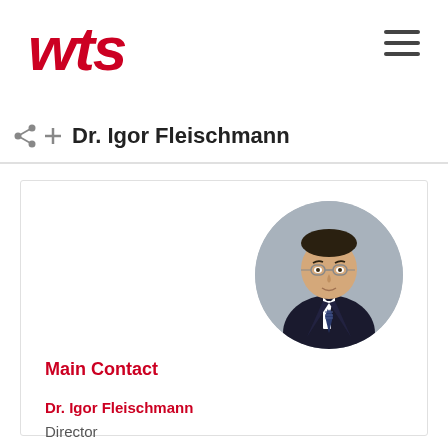[Figure (logo): WTS logo in red/crimson bold italic text]
Dr. Igor Fleischmann
[Figure (photo): Circular profile photo of Dr. Igor Fleischmann, a man wearing glasses and a dark suit with striped tie, grey background]
Main Contact
Dr. Igor Fleischmann
Director
Lawyer
Dusseldorf